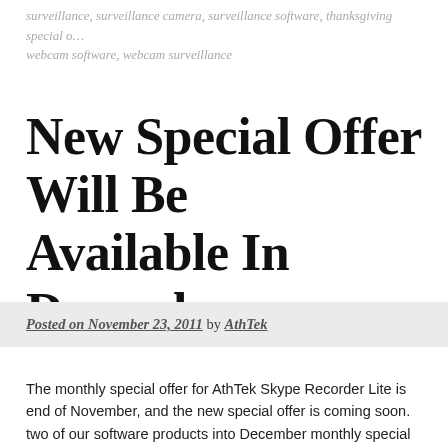surveillance, surveillance camera, surveillance software, thanksgiving special o… webcam software, webcam surveillance
New Special Offer Will Be Available In December
Posted on November 23, 2011 by AthTek
The monthly special offer for AthTek Skype Recorder Lite is end of November, and the new special offer is coming soon. two of our software products into December monthly special Desktop Translator and Print Layout Designer. Continue rea…
AthTek News, Customer Survey, Free Software, Google Desktop Translato…
Print Layout Designer, Product News, Special Offer  bar code design, Christ…
printing, desktop publishing software, dynamic printing, dynamic publishing…